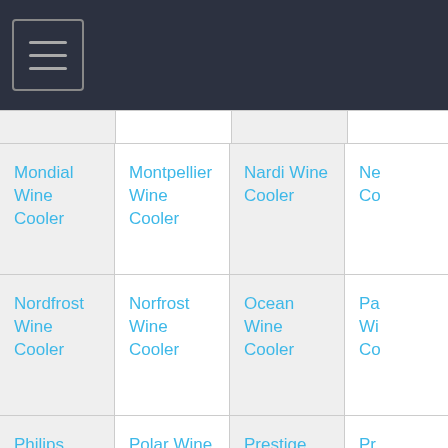Navigation menu
| Col1 | Col2 | Col3 | Col4 |
| --- | --- | --- | --- |
| Mondial Wine Cooler | Montpellier Wine Cooler | Nardi Wine Cooler | Ne... Co... |
| Nordfrost Wine Cooler | Norfrost Wine Cooler | Ocean Wine Cooler | Pa... Wi... Co... |
| Philips Wine Cooler | Polar Wine Cooler | Prestige Wine Cooler | Pr... Wi... Co... |
| Proline Wine Cooler | Rangecookers Wine Cooler | Rangemaster Wine Cooler | Ri... |